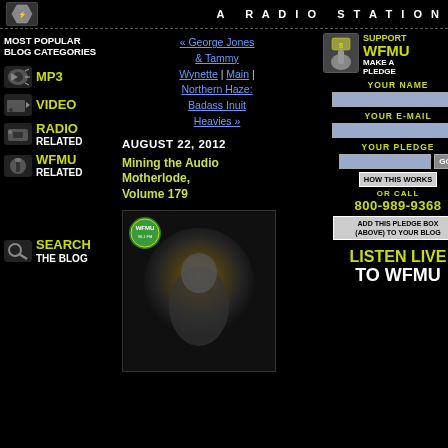A RADIO STATION
MOST POPULAR BLOG CATEGORIES
MP3
VIDEO
RADIO RELATED
WFMU RELATED
SEARCH THE BLOG
« George Jones & Tammy Wynette | Main | Northern Haze: Badass Inuit Heavies »
AUGUST 22, 2012
Mining the Audio Motherlode, Volume 179
[Figure (photo): Black and white photo of a miner with WFMU logo badge overlay and bright light]
SUPPORT WFMU MAKE A PLEDGE
YOUR NAME
YOUR E-MAIL
YOUR PLEDGE
HOW THIS WORKS
OR CALL
800-989-9368
ADD THIS PLEDGE BOX (ABOVE) TO YOUR BLOG
LISTEN LIVE TO WFMU